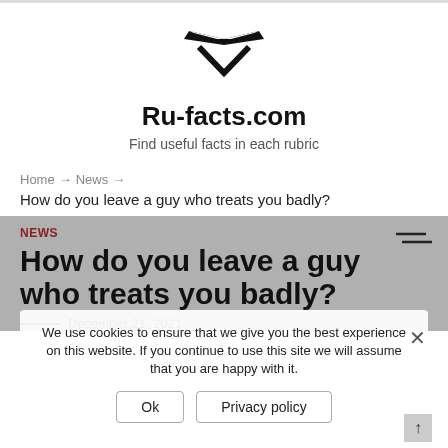Ru-facts.com — Find useful facts in each rubric
[Figure (logo): Ru-facts.com logo: stylized arrow/chevron mark in black]
Ru-facts.com
Find useful facts in each rubric
Home → News → How do you leave a guy who treats you badly?
NEWS
How do you leave a guy who treats you badly?
December 21, 2021
We use cookies to ensure that we give you the best experience on this website. If you continue to use this site we will assume that you are happy with it.